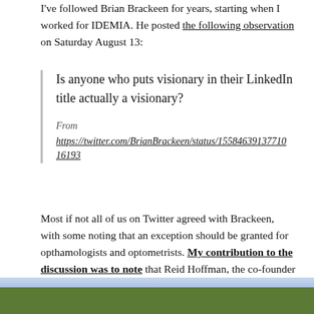I've followed Brian Brackeen for years, starting when I worked for IDEMIA. He posted the following observation on Saturday August 13:
Is anyone who puts visionary in their LinkedIn title actually a visionary?

From
https://twitter.com/BrianBrackeen/status/1558463913771016193
Most if not all of us on Twitter agreed with Brackeen, with some noting that an exception should be granted for opthamologists and optometrists. My contribution to the discussion was to note that Reid Hoffman, the co-founder of LinkedIn, didn't call himself a visionary.
[Figure (photo): Partial photo strip at bottom of page showing trees and outdoor scenery]